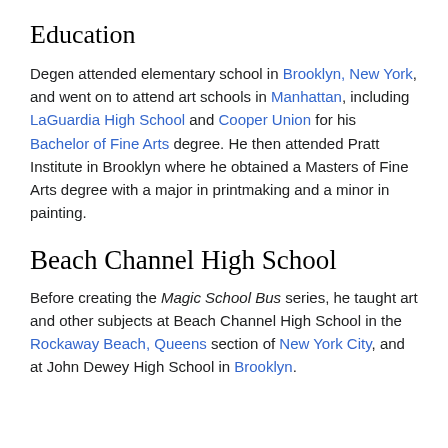Education
Degen attended elementary school in Brooklyn, New York, and went on to attend art schools in Manhattan, including LaGuardia High School and Cooper Union for his Bachelor of Fine Arts degree. He then attended Pratt Institute in Brooklyn where he obtained a Masters of Fine Arts degree with a major in printmaking and a minor in painting.
Beach Channel High School
Before creating the Magic School Bus series, he taught art and other subjects at Beach Channel High School in the Rockaway Beach, Queens section of New York City, and at John Dewey High School in Brooklyn.